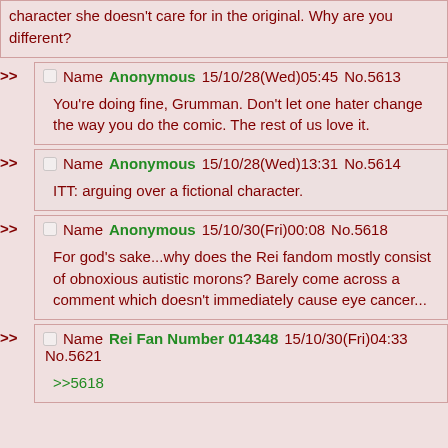character she doesn't care for in the original. Why are you different?
Name Anonymous 15/10/28(Wed)05:45 No.5613 — You're doing fine, Grumman. Don't let one hater change the way you do the comic. The rest of us love it.
Name Anonymous 15/10/28(Wed)13:31 No.5614 — ITT: arguing over a fictional character.
Name Anonymous 15/10/30(Fri)00:08 No.5618 — For god's sake...why does the Rei fandom mostly consist of obnoxious autistic morons? Barely come across a comment which doesn't immediately cause eye cancer...
Name Rei Fan Number 014348 15/10/30(Fri)04:33 No.5621 — >>5618